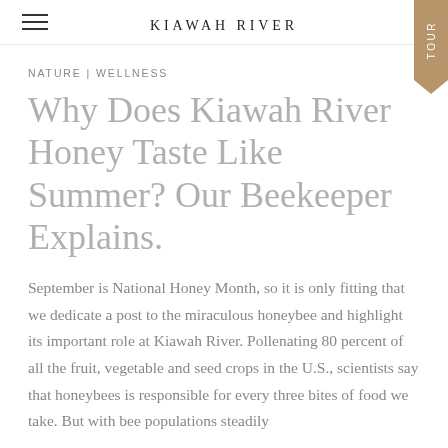KIAWAH RIVER
NATURE | WELLNESS
Why Does Kiawah River Honey Taste Like Summer? Our Beekeeper Explains.
September is National Honey Month, so it is only fitting that we dedicate a post to the miraculous honeybee and highlight its important role at Kiawah River. Pollenating 80 percent of all the fruit, vegetable and seed crops in the U.S., scientists say that honeybees is responsible for every three bites of food we take. But with bee populations steadily